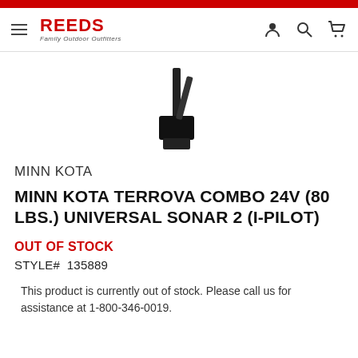[Figure (logo): Reeds Family Outdoor Outfitters logo with hamburger menu icon]
[Figure (photo): Partial product image of Minn Kota trolling motor, showing lower portion against white background]
MINN KOTA
MINN KOTA TERROVA COMBO 24V (80 LBS.) UNIVERSAL SONAR 2 (I-PILOT)
OUT OF STOCK
STYLE#  135889
This product is currently out of stock. Please call us for assistance at 1-800-346-0019.